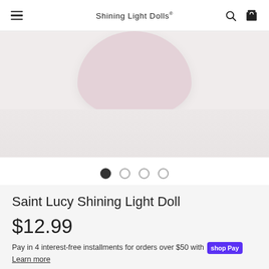Shining Light Dolls
[Figure (photo): Product photo showing the top of a light pink/lavender doll head against a white/light gray background. Only the rounded top of the head is visible.]
[Figure (other): Carousel navigation dots: 4 dots, first one filled/active (dark), remaining three are outlined circles.]
Saint Lucy Shining Light Doll
$12.99
Pay in 4 interest-free installments for orders over $50 with shop Pay Learn more